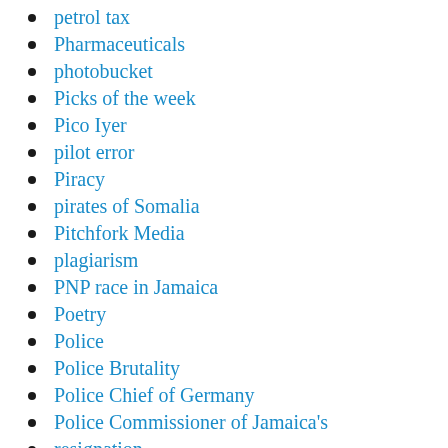petrol tax
Pharmaceuticals
photobucket
Picks of the week
Pico Iyer
pilot error
Piracy
pirates of Somalia
Pitchfork Media
plagiarism
PNP race in Jamaica
Poetry
Police
Police Brutality
Police Chief of Germany
Police Commissioner of Jamaica's
resignation